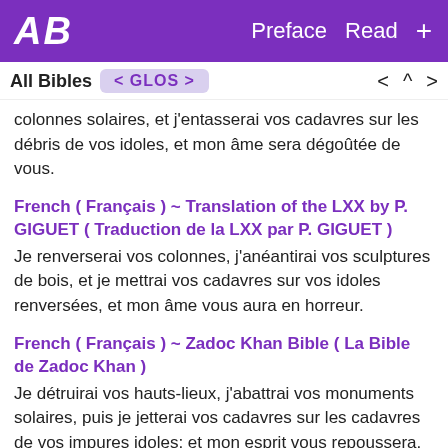AB  Preface  Read  +
All Bibles  < GLOS >   <  ^  >
colonnes solaires, et j'entasserai vos cadavres sur les débris de vos idoles, et mon âme sera dégoûtée de vous.
French ( Français ) ~ Translation of the LXX by P. GIGUET ( Traduction de la LXX par P. GIGUET )
Je renverserai vos colonnes, j'anéantirai vos sculptures de bois, et je mettrai vos cadavres sur vos idoles renversées, et mon âme vous aura en horreur.
French ( Français ) ~ Zadoc Khan Bible ( La Bible de Zadoc Khan )
Je détruirai vos hauts-lieux, j'abattrai vos monuments solaires, puis je jetterai vos cadavres sur les cadavres de vos impures idoles; et mon esprit vous repoussera.
German ( Deutsch ) ~ Catholic Bible, Paul Riessler (